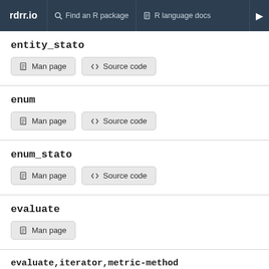rdrr.io | Find an R package | R language docs
entity_stato
Man page  Source code
enum
Man page  Source code
enum_stato
Man page  Source code
evaluate
Man page
evaluate,iterator,metric-method
Man page